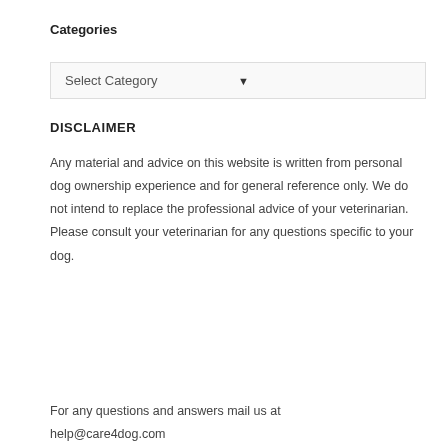Categories
[Figure (screenshot): A dropdown select box with label 'Select Category' and a downward arrow indicator on the right]
DISCLAIMER
Any material and advice on this website is written from personal dog ownership experience and for general reference only. We do not intend to replace the professional advice of your veterinarian. Please consult your veterinarian for any questions specific to your dog.
For any questions and answers mail us at help@care4dog.com